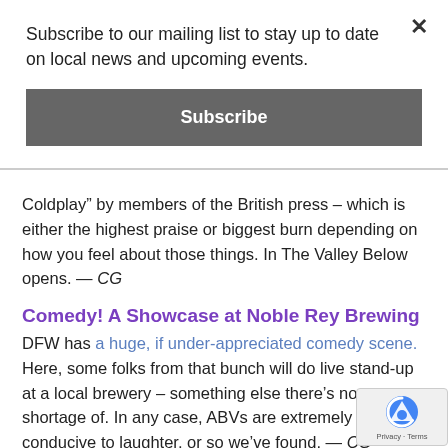Subscribe to our mailing list to stay up to date on local news and upcoming events.
Subscribe
Coldplay” by members of the British press – which is either the highest praise or biggest burn depending on how you feel about those things. In The Valley Below opens. — CG
Comedy! A Showcase at Noble Rey Brewing
DFW has a huge, if under-appreciated comedy scene. Here, some folks from that bunch will do live stand-up at a local brewery – something else there’s no shortage of. In any case, ABVs are extremely conducive to laughter, or so we’ve found. — CG
The Get Up Kids at Trees
Twenty-three years — two decades, a fifth of a century — is a long time. That’s how long The Get Up Kids have been ar... With 23 years in the game, the band is celebrating with a... brings the famed emo band by Deep Ellum tonight. The Ca...